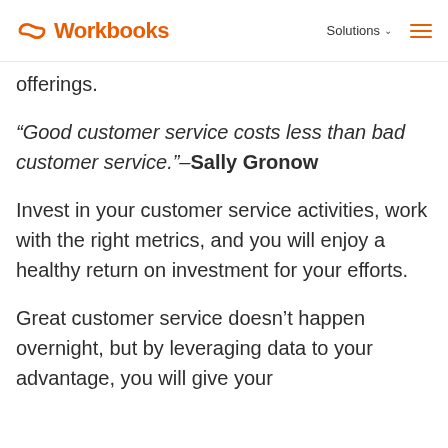Workbooks | Solutions
offerings.
“Good customer service costs less than bad customer service.”–Sally Gronow
Invest in your customer service activities, work with the right metrics, and you will enjoy a healthy return on investment for your efforts.
Great customer service doesn’t happen overnight, but by leveraging data to your advantage, you will give your